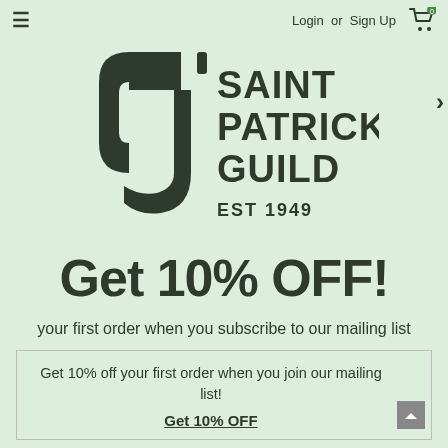≡   Login or Sign Up  🛒 0
[Figure (logo): Saint Patrick's Guild logo with stylized cross shape and text: SAINT PATRICK'S GUILD EST 1949]
Get 10% OFF!
your first order when you subscribe to our mailing list
Get 10% off your first order when you join our mailing list!
Get 10% OFF